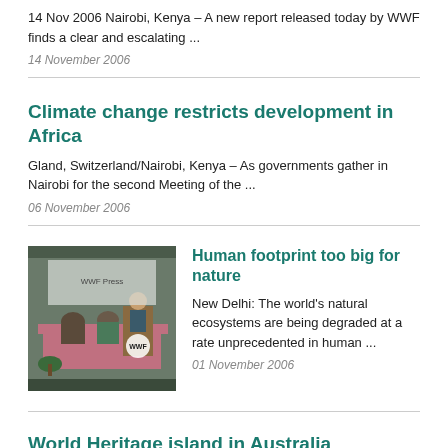14 Nov 2006 Nairobi, Kenya – A new report released today by WWF finds a clear and escalating ...
14 November 2006
Climate change restricts development in Africa
Gland, Switzerland/Nairobi, Kenya – As governments gather in Nairobi for the second Meeting of the ...
06 November 2006
[Figure (photo): WWF press conference with people at a table and podium]
Human footprint too big for nature
New Delhi: The world's natural ecosystems are being degraded at a rate unprecedented in human ...
01 November 2006
World Heritage island in Australia threatened by rabbits and rats
Sydney, Australia – Cruise passengers heading south this season will be in for a shock when they ...